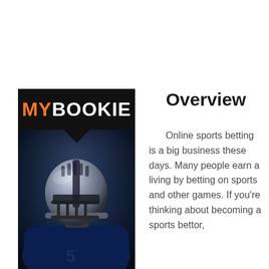[Figure (logo): MyBookie logo — black background with 'MY' in orange and 'BOOKIE' in white bold text, with a downward-pointing triangle below]
[Figure (photo): American football player in blue uniform and silver helmet, dramatic dark smoky background]
Overview
Online sports betting is a big business these days. Many people earn a living by betting on sports and other games. If you're thinking about becoming a sports bettor,